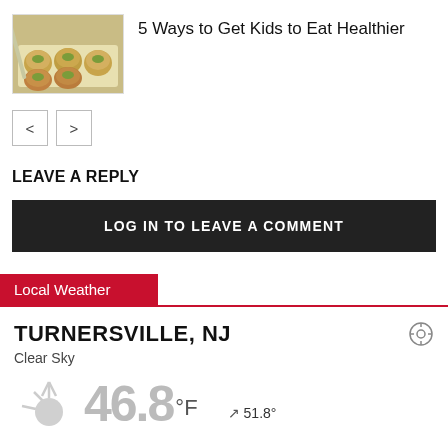[Figure (photo): Food photo showing baked egg muffin cups on a tray]
5 Ways to Get Kids to Eat Healthier
[Figure (other): Navigation previous/next arrow buttons]
LEAVE A REPLY
LOG IN TO LEAVE A COMMENT
Local Weather
TURNERSVILLE, NJ
Clear Sky
51.8°